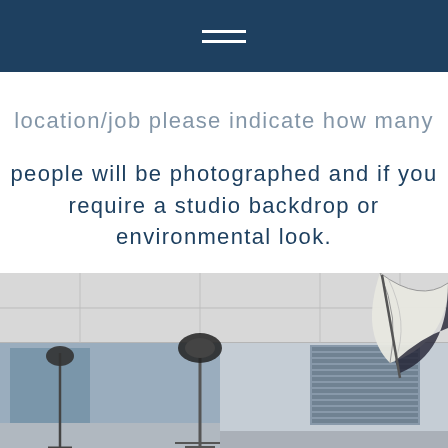location/job please indicate how many people will be photographed and if you require a studio backdrop or environmental look.
We look forward to working with you!
[Figure (photo): Photography studio interior showing studio lighting equipment on stands, a backdrop, and a photography umbrella/reflector near a window with blinds]